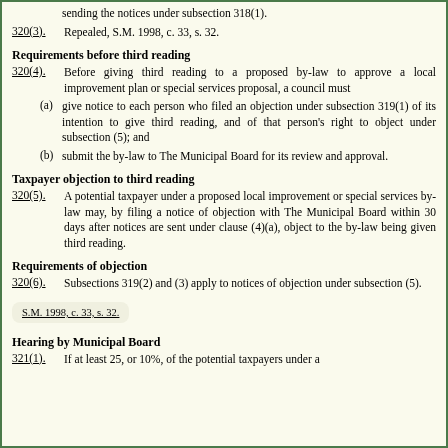(b) propose a similar plan or proposal for a period of five years after sending the notices under subsection 318(1).
320(3). Repealed, S.M. 1998, c. 33, s. 32.
Requirements before third reading
320(4). Before giving third reading to a proposed by-law to approve a local improvement plan or special services proposal, a council must
(a) give notice to each person who filed an objection under subsection 319(1) of its intention to give third reading, and of that person's right to object under subsection (5); and
(b) submit the by-law to The Municipal Board for its review and approval.
Taxpayer objection to third reading
320(5). A potential taxpayer under a proposed local improvement or special services by-law may, by filing a notice of objection with The Municipal Board within 30 days after notices are sent under clause (4)(a), object to the by-law being given third reading.
Requirements of objection
320(6). Subsections 319(2) and (3) apply to notices of objection under subsection (5).
S.M. 1998, c. 33, s. 32.
Hearing by Municipal Board
321(1). If at least 25, or 10%, of the potential taxpayers under a